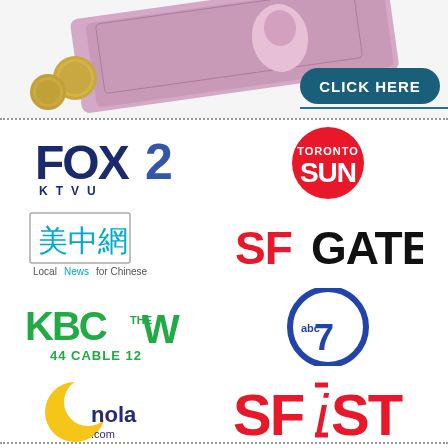[Figure (photo): Australian currency banknote and coins with a 'CLICK HERE' button overlay on a dark teal pill-shaped background]
[Figure (logo): FOX 2 KTVU logo in navy blue and blue]
[Figure (logo): Toronto Sun logo - white text on red circle]
[Figure (logo): Chinese news website logo with Chinese characters and text 'Local News for Chinese']
[Figure (logo): SFGate logo with red SF and black GATE text]
[Figure (logo): KBCW The CW 44 Cable 12 logo in green]
[Figure (logo): ABC 7 logo in blue circle with white 7]
[Figure (logo): nola.com logo with yellow crescent moon]
[Figure (logo): SFiST logo in red with italic i]